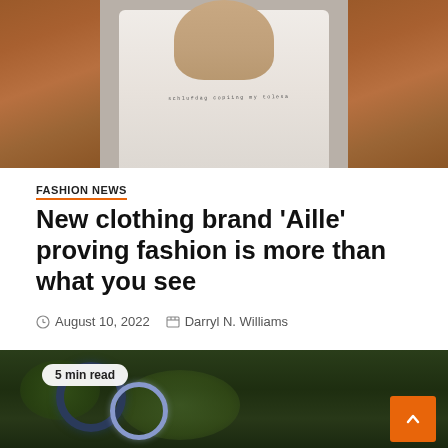[Figure (photo): Top portion of a person wearing a white t-shirt with text, against a brick background. The image is partially cropped.]
FASHION NEWS
New clothing brand ‘Aille’ proving fashion is more than what you see
August 10, 2022   Darryl N. Williams
[Figure (photo): Close-up photo of two rings on a mossy surface — a dark blue band ring and a sparkly engagement-style ring. A badge reads '5 min read'. An orange scroll-to-top button is in the bottom right.]